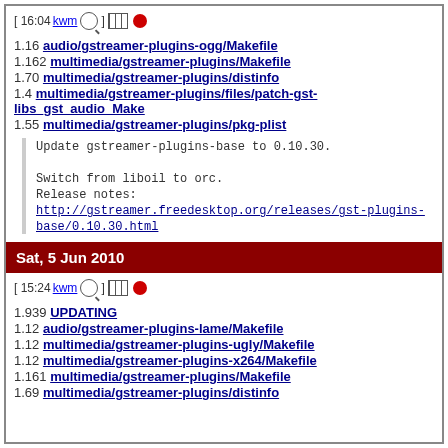[ 16:04 kwm 🔍 ] 🗔 🔴
1.16 audio/gstreamer-plugins-ogg/Makefile
1.162 multimedia/gstreamer-plugins/Makefile
1.70 multimedia/gstreamer-plugins/distinfo
1.4 multimedia/gstreamer-plugins/files/patch-gst-libs_gst_audio_Make
1.55 multimedia/gstreamer-plugins/pkg-plist
Update gstreamer-plugins-base to 0.10.30.

Switch from liboil to orc.
Release notes:
http://gstreamer.freedesktop.org/releases/gst-plugins-base/0.10.30.html
Sat, 5 Jun 2010
[ 15:24 kwm 🔍 ] 🗔 🔴
1.939 UPDATING
1.12 audio/gstreamer-plugins-lame/Makefile
1.12 multimedia/gstreamer-plugins-ugly/Makefile
1.12 multimedia/gstreamer-plugins-x264/Makefile
1.161 multimedia/gstreamer-plugins/Makefile
1.69 multimedia/gstreamer-plugins/distinfo